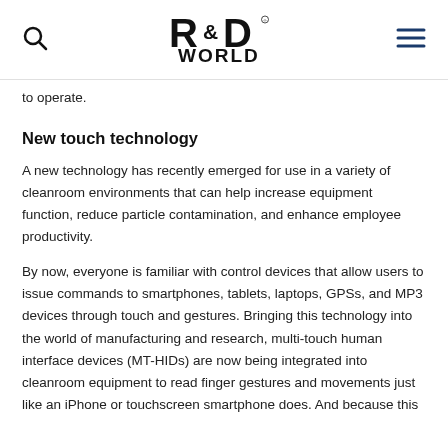R&D WORLD
to operate.
New touch technology
A new technology has recently emerged for use in a variety of cleanroom environments that can help increase equipment function, reduce particle contamination, and enhance employee productivity.
By now, everyone is familiar with control devices that allow users to issue commands to smartphones, tablets, laptops, GPSs, and MP3 devices through touch and gestures. Bringing this technology into the world of manufacturing and research, multi-touch human interface devices (MT-HIDs) are now being integrated into cleanroom equipment to read finger gestures and movements just like an iPhone or touchscreen smartphone does. And because this